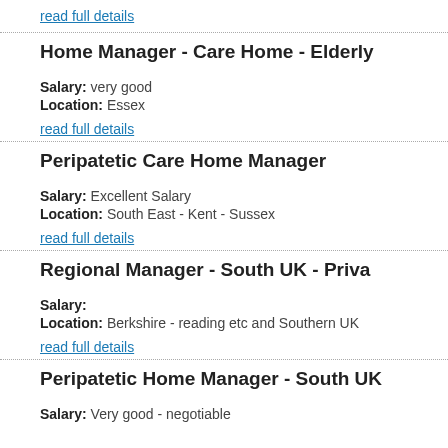read full details
Home Manager - Care Home - Elderly
Salary: very good
Location: Essex
read full details
Peripatetic Care Home Manager
Salary: Excellent Salary
Location: South East - Kent - Sussex
read full details
Regional Manager - South UK - Priva
Salary:
Location: Berkshire - reading etc and Southern UK
read full details
Peripatetic Home Manager - South UK
Salary: Very good - negotiable